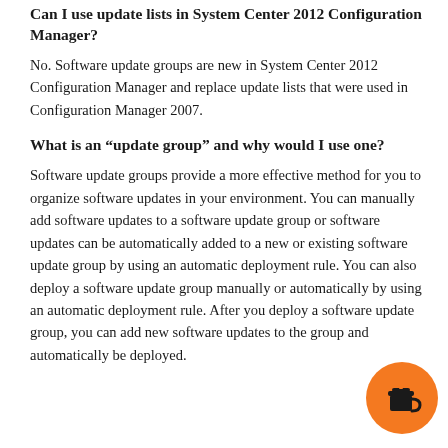Can I use update lists in System Center 2012 Configuration Manager?
No. Software update groups are new in System Center 2012 Configuration Manager and replace update lists that were used in Configuration Manager 2007.
What is an “update group” and why would I use one?
Software update groups provide a more effective method for you to organize software updates in your environment. You can manually add software updates to a software update group or software updates can be automatically added to a new or existing software update group by using an automatic deployment rule. You can also deploy a software update group manually or automatically by using an automatic deployment rule. After you deploy a software update group, you can add new software updates to the group and automatically be deployed.